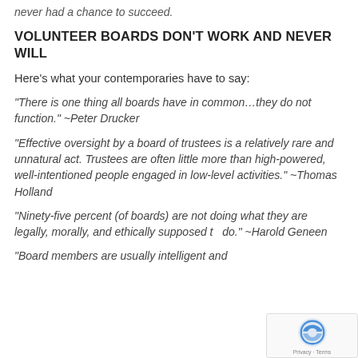never had a chance to succeed.
VOLUNTEER BOARDS DON'T WORK AND NEVER WILL
Here's what your contemporaries have to say:
“There is one thing all boards have in common…they do not function.” ~Peter Drucker
“Effective oversight by a board of trustees is a relatively rare and unnatural act. Trustees are often little more than high-powered, well-intentioned people engaged in low-level activities.” ~Thomas Holland
“Ninety-five percent (of boards) are not doing what they are legally, morally, and ethically supposed to do.” ~Harold Geneen
“Board members are usually intelligent and